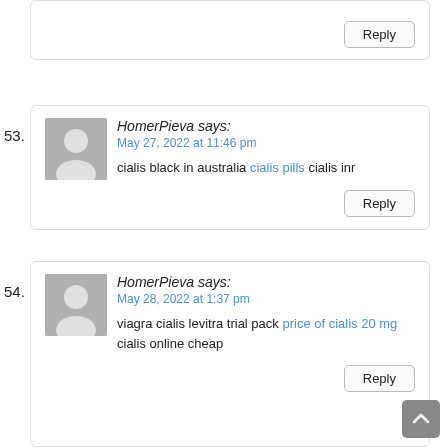[Figure (other): Reply button for comment above]
53.
[Figure (photo): Default avatar placeholder image for HomerPieva comment 53]
HomerPieva says:
May 27, 2022 at 11:46 pm
cialis black in australia cialis pills cialis inr
Reply
54.
[Figure (photo): Default avatar placeholder image for HomerPieva comment 54]
HomerPieva says:
May 28, 2022 at 1:37 pm
viagra cialis levitra trial pack price of cialis 20 mg cialis online cheap
Reply